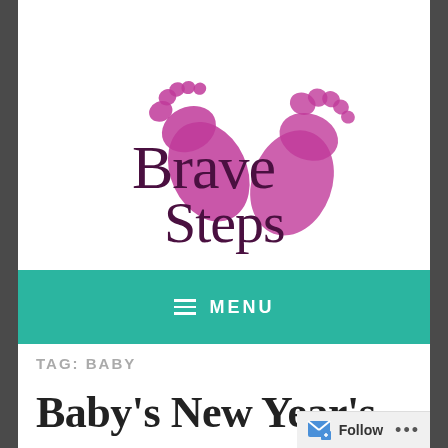[Figure (logo): Brave Steps blog logo with two pink/magenta baby footprints and the text 'Brave Steps' in dark purple serif font]
≡ MENU
TAG: BABY
Baby's New Year's